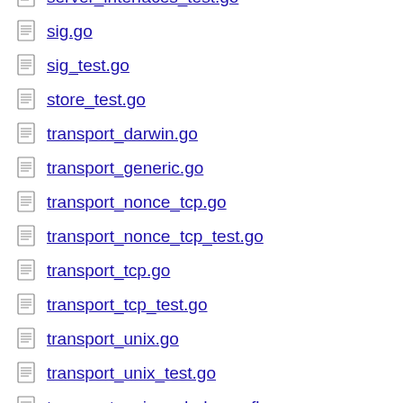server_interfaces_test.go
sig.go
sig_test.go
store_test.go
transport_darwin.go
transport_generic.go
transport_nonce_tcp.go
transport_nonce_tcp_test.go
transport_tcp.go
transport_tcp_test.go
transport_unix.go
transport_unix_test.go
transport_unixcred_dragonfly.go
transport_unixcred_freebsd.go
transport_unixcred_linux.go
transport_unixcred_netbsd.go
transport_unixcred_openbsd.go
transport_zos.go
variant.go